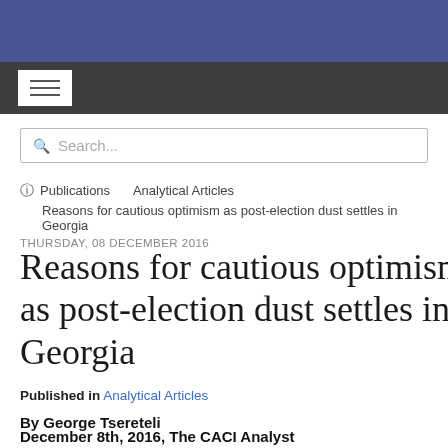Search...
Publications   Analytical Articles   Reasons for cautious optimism as post-election dust settles in Georgia
THURSDAY, 08 DECEMBER 2016
Reasons for cautious optimism as post-election dust settles in Georgia
Published in Analytical Articles
By George Tsereteli
December 8th, 2016, The CACI Analyst